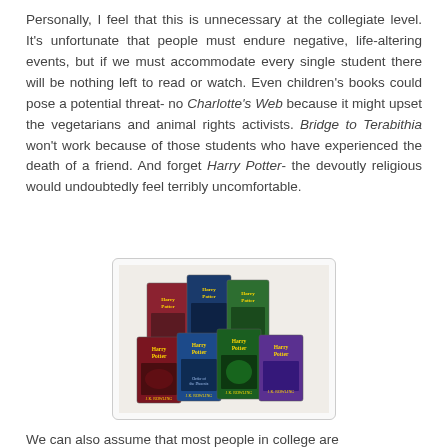Personally, I feel that this is unnecessary at the collegiate level. It's unfortunate that people must endure negative, life-altering events, but if we must accommodate every single student there will be nothing left to read or watch. Even children's books could pose a potential threat- no Charlotte's Web because it might upset the vegetarians and animal rights activists. Bridge to Terabithia won't work because of those students who have experienced the death of a friend. And forget Harry Potter- the devoutly religious would undoubtedly feel terribly uncomfortable.
[Figure (photo): A collection of Harry Potter book covers arranged in a group photo, showing multiple volumes of the series with colorful illustrated covers.]
We can also assume that most people in college are